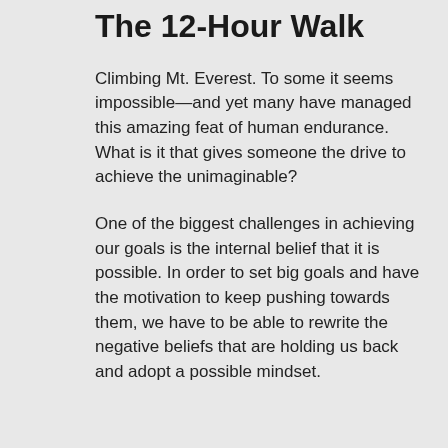The 12-Hour Walk
Climbing Mt. Everest. To some it seems impossible—and yet many have managed this amazing feat of human endurance. What is it that gives someone the drive to achieve the unimaginable?
One of the biggest challenges in achieving our goals is the internal belief that it is possible. In order to set big goals and have the motivation to keep pushing towards them, we have to be able to rewrite the negative beliefs that are holding us back and adopt a possible mindset.